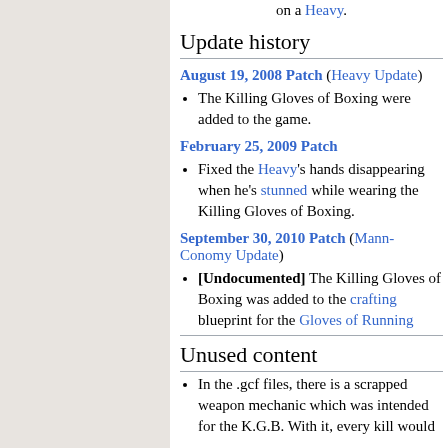on a Heavy.
Update history
August 19, 2008 Patch (Heavy Update)
The Killing Gloves of Boxing were added to the game.
February 25, 2009 Patch
Fixed the Heavy's hands disappearing when he's stunned while wearing the Killing Gloves of Boxing.
September 30, 2010 Patch (Mann-Conomy Update)
[Undocumented] The Killing Gloves of Boxing was added to the crafting blueprint for the Gloves of Running
Unused content
In the .gcf files, there is a scrapped weapon mechanic which was intended for the K.G.B. With it, every kill would